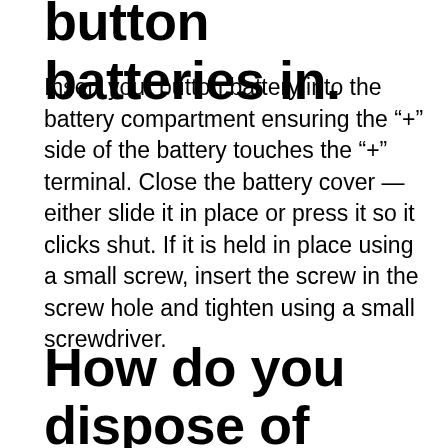button batteries in.
Insert your button battery into the battery compartment ensuring the “+” side of the battery touches the “+” terminal. Close the battery cover — either slide it in place or press it so it clicks shut. If it is held in place using a small screw, insert the screw in the screw hole and tighten using a small screwdriver.
How do you dispose of button cell batteries?
Button, or coin, batteries contain toxins and need to be recycled instead of thrown into the trash.